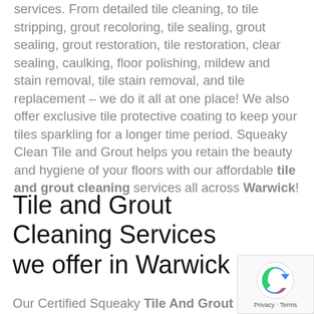We offer lowest prices for our tile cleaning services. From detailed tile cleaning, to tile stripping, grout recoloring, tile sealing, grout sealing, grout restoration, tile restoration, clear sealing, caulking, floor polishing, mildew and stain removal, tile stain removal, and tile replacement – we do it all at one place! We also offer exclusive tile protective coating to keep your tiles sparkling for a longer time period. Squeaky Clean Tile and Grout helps you retain the beauty and hygiene of your floors with our affordable tile and grout cleaning services all across Warwick!
Tile and Grout Cleaning Services we offer in Warwick
Our Certified Squeaky Tile And Grout
[Figure (other): reCAPTCHA badge with logo and Privacy - Terms text]